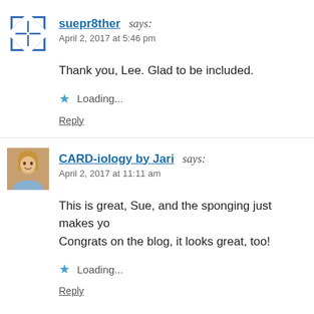[Figure (illustration): Blue geometric/quilt-pattern avatar icon for user suepr8ther]
suepr8ther says: April 2, 2017 at 5:46 pm
Thank you, Lee. Glad to be included.
Loading...
Reply
[Figure (photo): Profile photo of a smiling blonde woman]
CARD-iology by Jari says: April 2, 2017 at 11:11 am
This is great, Sue, and the sponging just makes yo Congrats on the blog, it looks great, too!
Loading...
Reply